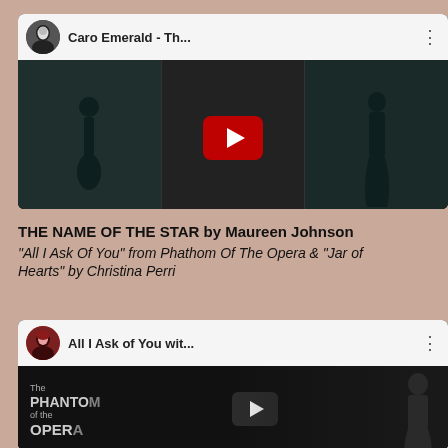[Figure (screenshot): YouTube video thumbnail for 'Caro Emerald - Th...' showing silhouette musicians on dark background with red play button]
THE NAME OF THE STAR by Maureen Johnson
"All I Ask Of You" from Phathom Of The Opera & "Jar of Hearts" by Christina Perri
[Figure (screenshot): YouTube video thumbnail for 'All I Ask of You wit...' showing The Phantom of the Opera poster on dark background with play button]